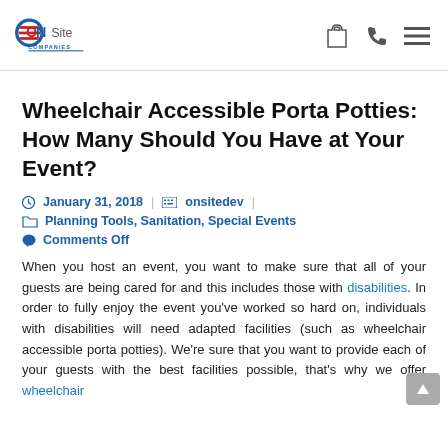ONSite Companies logo with navigation icons
Wheelchair Accessible Porta Potties: How Many Should You Have at Your Event?
January 31, 2018 | onsitedev
Planning Tools, Sanitation, Special Events
Comments Off
When you host an event, you want to make sure that all of your guests are being cared for and this includes those with disabilities. In order to fully enjoy the event you've worked so hard on, individuals with disabilities will need adapted facilities (such as wheelchair accessible porta potties). We're sure that you want to provide each of your guests with the best facilities possible, that's why we offer wheelchair